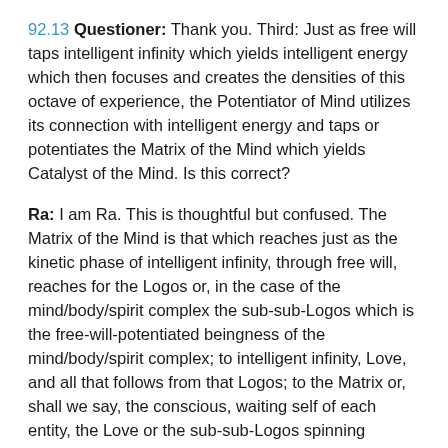92.13 Questioner: Thank you. Third: Just as free will taps intelligent infinity which yields intelligent energy which then focuses and creates the densities of this octave of experience, the Potentiator of Mind utilizes its connection with intelligent energy and taps or potentiates the Matrix of the Mind which yields Catalyst of the Mind. Is this correct?
Ra: I am Ra. This is thoughtful but confused. The Matrix of the Mind is that which reaches just as the kinetic phase of intelligent infinity, through free will, reaches for the Logos or, in the case of the mind/body/spirit complex the sub-sub-Logos which is the free-will-potentiated beingness of the mind/body/spirit complex; to intelligent infinity, Love, and all that follows from that Logos; to the Matrix or, shall we say, the conscious, waiting self of each entity, the Love or the sub-sub-Logos spinning through free will all those things which